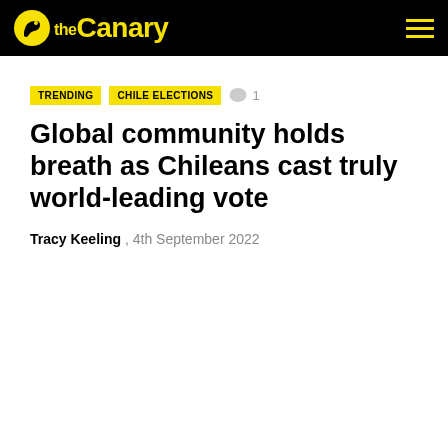the Canary
TRENDING  CHILE ELECTIONS  💬 1
Global community holds breath as Chileans cast truly world-leading vote
Tracy Keeling , 4th September 2022